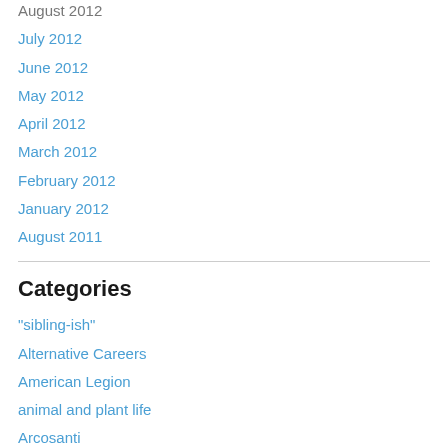August 2012
July 2012
June 2012
May 2012
April 2012
March 2012
February 2012
January 2012
August 2011
Categories
"sibling-ish"
Alternative Careers
American Legion
animal and plant life
Arcosanti
Assistance
bamboo fence
children